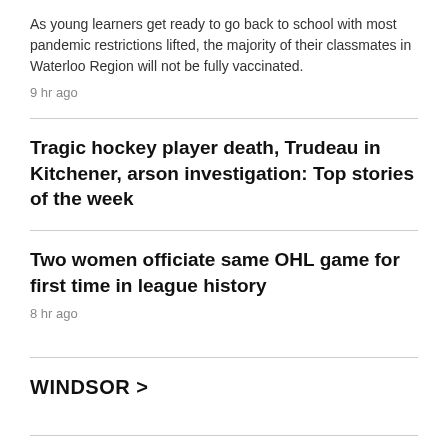As young learners get ready to go back to school with most pandemic restrictions lifted, the majority of their classmates in Waterloo Region will not be fully vaccinated.
9 hr ago
Tragic hockey player death, Trudeau in Kitchener, arson investigation: Top stories of the week
Two women officiate same OHL game for first time in league history
8 hr ago
WINDSOR >